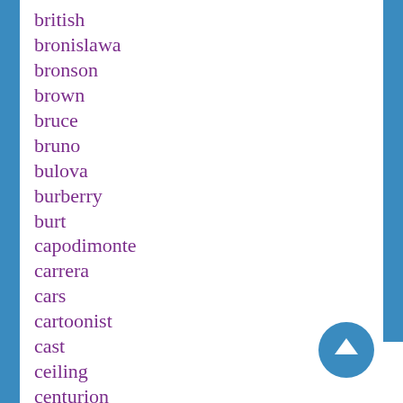british
bronislawa
bronson
brown
bruce
bruno
bulova
burberry
burt
capodimonte
carrera
cars
cartoonist
cast
ceiling
centurion
century
ceramic
certified
champion
chanel